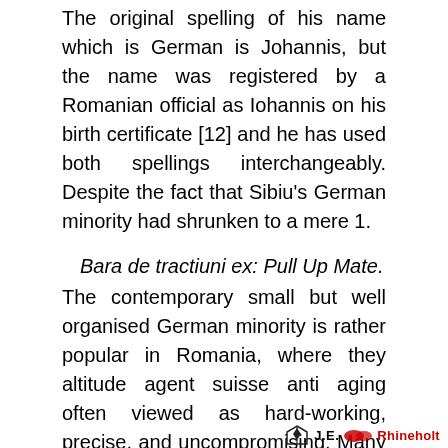The original spelling of his name which is German is Johannis, but the name was registered by a Romanian official as Iohannis on his birth certificate [12] and he has used both spellings interchangeably. Despite the fact that Sibiu's German minority had shrunken to a mere 1.
Bara de tractiuni ex: Pull Up Mate. The contemporary small but well organised German minority is rather popular in Romania, where they altitude agent suisse anti aging often viewed as hard-working, precise, and uncompromising. Many Romanians also remember that the country experienced some of its best moments under German kings over a century ago.
[Figure (logo): Bottom right logo with a shield/arrow icon and text 'Rhineholt' partially visible in red]